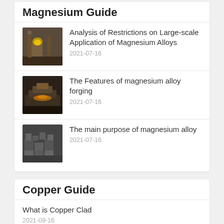Magnesium Guide
Analysis of Restrictions on Large-scale Application of Magnesium Alloys
2021-07-16
The Features of magnesium alloy forging
2021-07-16
The main purpose of magnesium alloy
2021-07-16
Copper Guide
What is Copper Clad
2021-09-16
The history of copper
2021-09-16
The main purpose and types of brass tubes